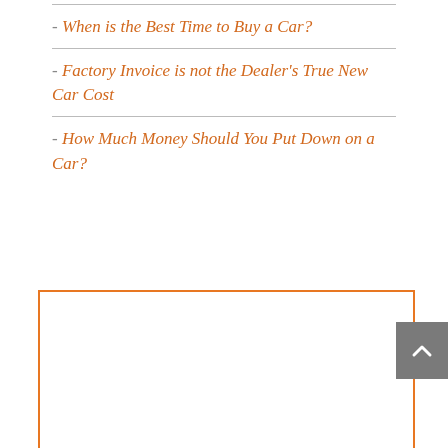- When is the Best Time to Buy a Car?
- Factory Invoice is not the Dealer's True New Car Cost
- How Much Money Should You Put Down on a Car?
[Figure (other): Orange-bordered rectangular box, partially visible, with a gray scroll-to-top button on the right side containing an upward chevron arrow.]